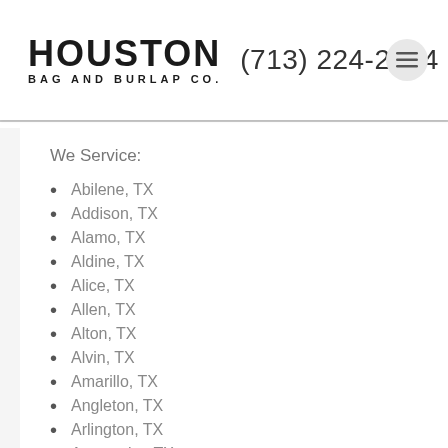HOUSTON BAG AND BURLAP CO. (713) 224-2644
We Service:
Abilene, TX
Addison, TX
Alamo, TX
Aldine, TX
Alice, TX
Allen, TX
Alton, TX
Alvin, TX
Amarillo, TX
Angleton, TX
Arlington, TX
Atascocita, TX
Austin, TX
Balch Springs, TX
Bay City, TX